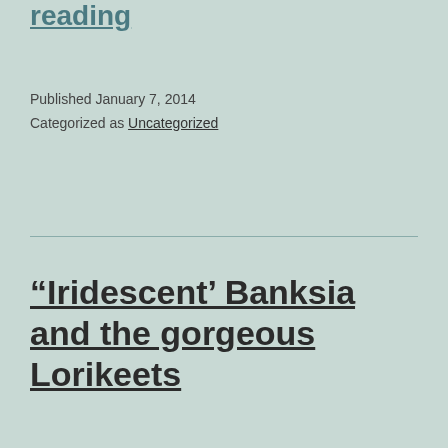reading
Published January 7, 2014
Categorized as Uncategorized
“Iridescent’ Banksia and the gorgeous Lorikeets